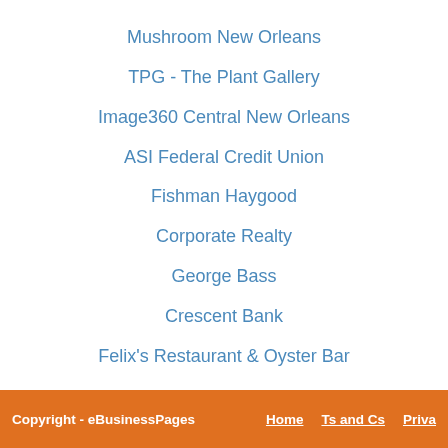Mushroom New Orleans
TPG - The Plant Gallery
Image360 Central New Orleans
ASI Federal Credit Union
Fishman Haygood
Corporate Realty
George Bass
Crescent Bank
Felix's Restaurant & Oyster Bar
Copyright - eBusinessPages   Home   Ts and Cs   Priva